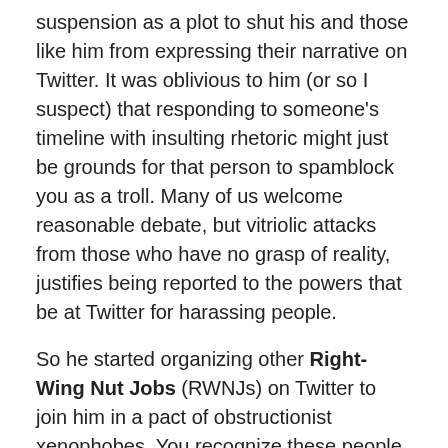suspension as a plot to shut his and those like him from expressing their narrative on Twitter. It was oblivious to him (or so I suspect) that responding to someone's timeline with insulting rhetoric might just be grounds for that person to spamblock you as a troll. Many of us welcome reasonable debate, but vitriolic attacks from those who have no grasp of reality, justifies being reported to the powers that be at Twitter for harassing people.
So he started organizing other Right-Wing Nut Jobs (RWNJs) on Twitter to join him in a pact of obstructionist xenophobes. You recognize these people by their bios, avatars and banners on their Twitter sites. Lots of waving flags, eagles, tri-corner hats, Gadsden flags, and of course guns. Their bios all include some variance of conservative, Christian, patriot, constitutionalist, NRA, NoBama rhetoric to convince people (and perhaps themselves) how